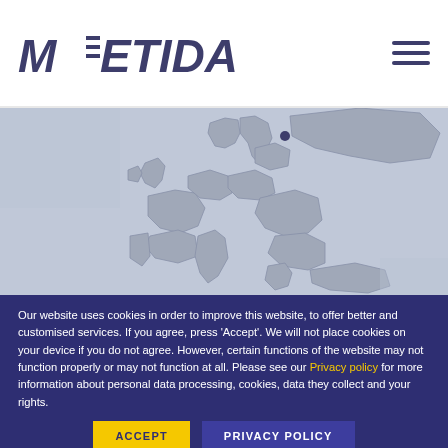METIDA
[Figure (map): Grey map of Europe showing country outlines, used as background image for a trademark/IP law firm website section]
National
The protection of a nationally registered trademark is valid in a specific country (e.g.
Our website uses cookies in order to improve this website, to offer better and customised services. If you agree, press 'Accept'. We will not place cookies on your device if you do not agree. However, certain functions of the website may not function properly or may not function at all. Please see our Privacy policy for more information about personal data processing, cookies, data they collect and your rights.
ivities in that country.